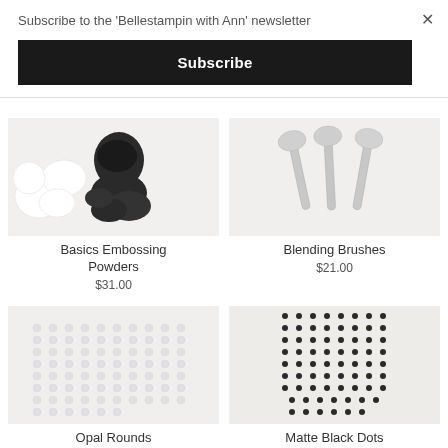Subscribe to the 'Bellestampin with Ann' newsletter
Subscribe
[Figure (photo): Basics Embossing Powders product photo: white powder circles and black powder spill from a dark container on white background]
Basics Embossing Powders
$31.00
[Figure (photo): Blending Brushes product photo: three silver spoon-shaped blending brushes on white background]
Blending Brushes
$21.00
[Figure (photo): Opal Rounds product photo: sheet of small translucent iridescent round stickers in a grid pattern on white background]
Opal Rounds
$13.00
[Figure (photo): Matte Black Dots product photo: sheet of small black dot stickers arranged in a grid on white/cream background]
Matte Black Dots
$12.25